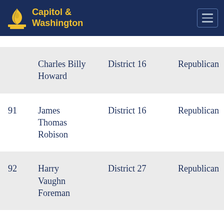Capitol & Washington
| # | Name | District | Party |
| --- | --- | --- | --- |
|  | Charles Billy Howard | District 16 | Republican |
| 91 | James Thomas Robison | District 16 | Republican |
| 92 | Harry Vaughn Foreman | District 27 | Republican |